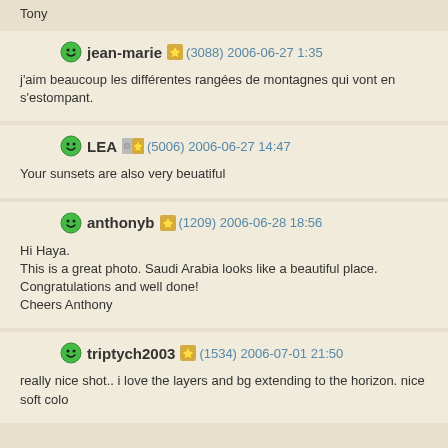Tony
jean-marie (3088) 2006-06-27 1:35
j'aim beaucoup les différentes rangées de montagnes qui vont en s'estompant.
LEA (5006) 2006-06-27 14:47
Your sunsets are also very beuatiful
anthonyb (1209) 2006-06-28 18:56
Hi Haya.
This is a great photo. Saudi Arabia looks like a beautiful place.
Congratulations and well done!
Cheers Anthony
triptych2003 (1534) 2006-07-01 21:50
really nice shot.. i love the layers and bg extending to the horizon. nice soft colo